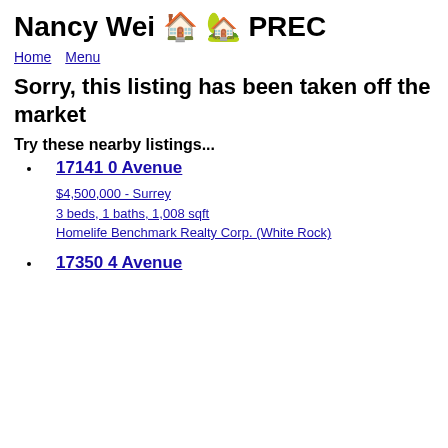Nancy Wei 🏠 🏡 PREC
Home   Menu
Sorry, this listing has been taken off the market
Try these nearby listings...
17141 0 Avenue
$4,500,000 - Surrey
3 beds, 1 baths, 1,008 sqft
Homelife Benchmark Realty Corp. (White Rock)
17350 4 Avenue